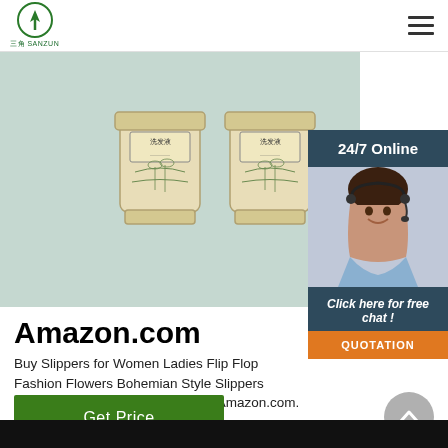SANZUN logo and hamburger menu
[Figure (photo): Two decorative glass jars with Chinese label text and floral botanical illustrations on a light teal/green background]
[Figure (infographic): 24/7 Online chat widget panel with dark blue header, photo of female customer service agent with headset, 'Click here for free chat!' text, and orange QUOTATION button]
Amazon.com
Buy Slippers for Women Ladies Flip Flop Fashion Flowers Bohemian Style Slippers Beach Sandals and other Flats at Amazon.com. ...
Get Price